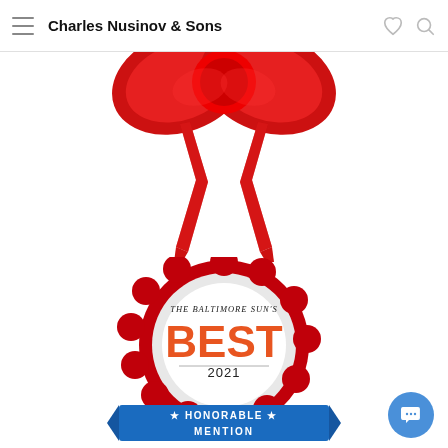Charles Nusinov & Sons
[Figure (illustration): Red award ribbon with two long tails pointing downward, partially cropped at the top]
[Figure (illustration): The Baltimore Sun's Best 2021 Honorable Mention award badge — circular red rosette with white center circle containing text 'THE BALTIMORE SUN'S BEST 2021' and a blue banner at the bottom reading 'HONORABLE MENTION' with white stars]